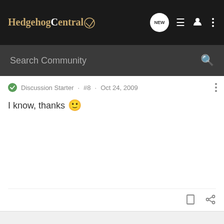Hedgehog Central
Search Community
Discussion Starter · #8 · Oct 24, 2009
I know, thanks 🙂
padawanslacker · Registered
Joined Oct 23, 2008 · 44 Posts